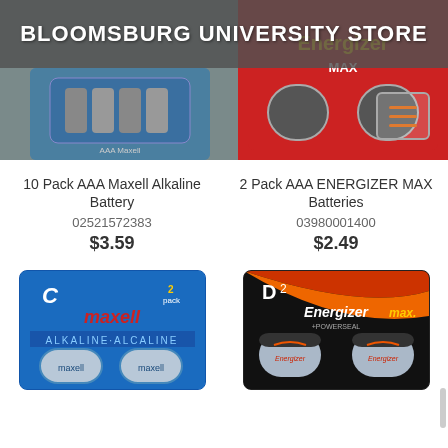BLOOMSBURG UNIVERSITY STORE
[Figure (photo): Top banner background with battery product images and Bloomsburg University Store branding]
10 Pack AAA Maxell Alkaline Battery
02521572383
$3.59
2 Pack AAA ENERGIZER MAX Batteries
03980001400
$2.49
[Figure (photo): Maxell C 2-pack alkaline battery product image]
[Figure (photo): Energizer MAX D2 battery product image]